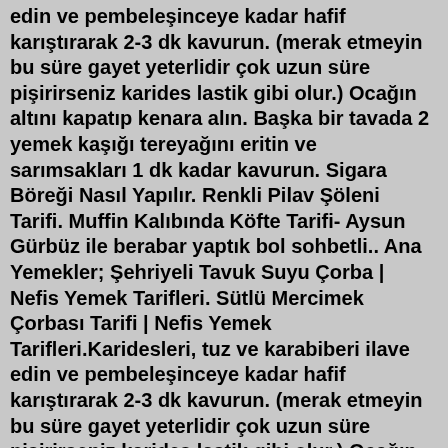edin ve pembeleşinceye kadar hafif karıştırarak 2-3 dk kavurun. (merak etmeyin bu süre gayet yeterlidir çok uzun süre pişirirseniz karides lastik gibi olur.) Ocağın altını kapatıp kenara alın. Başka bir tavada 2 yemek kaşığı tereyağını eritin ve sarımsakları 1 dk kadar kavurun. Sigara Böreği Nasıl Yapılır. Renkli Pilav Şöleni Tarifi. Muffin Kalıbında Köfte Tarifi- Aysun Gürbüz ile berabar yaptık bol sohbetli.. Ana Yemekler; Şehriyeli Tavuk Suyu Çorba | Nefis Yemek Tarifleri. Sütlü Mercimek Çorbası Tarifi | Nefis Yemek Tarifleri.Karidesleri, tuz ve karabiberi ilave edin ve pembeleşinceye kadar hafif karıştırarak 2-3 dk kavurun. (merak etmeyin bu süre gayet yeterlidir çok uzun süre pişirirseniz karides lastik gibi olur.) Ocağın altını kapatıp kenara alın. Başka bir tavada 2 yemek kaşığı tereyağını eritin ve sarımsakları 1 dk kadar kavurun.Tereyağında Karides - Yemek Tarifi Selammmmmmmmmm :))))) yine yok oldum yine ihmal ettim sitemi farkındayım ama geçerli sebeplerim var:) Yaz tatilimin bu yıl biraz uzun olmasından dolayı sürekli gezme hallerindeydim...Fırında Tereyağlı